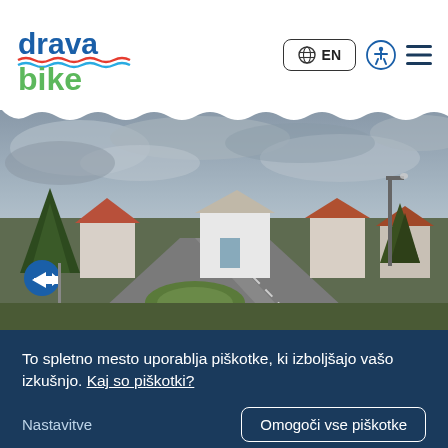[Figure (logo): Drava Bike logo with stylized text in blue and green, with wave decoration]
EN
[Figure (photo): Roundabout intersection in a European town, overcast sky, houses, trees, road signs visible]
To spletno mesto uporablja piškotke, ki izboljšajo vašo izkušnjo. Kaj so piškotki?
Nastavitve
Omogoči vse piškotke